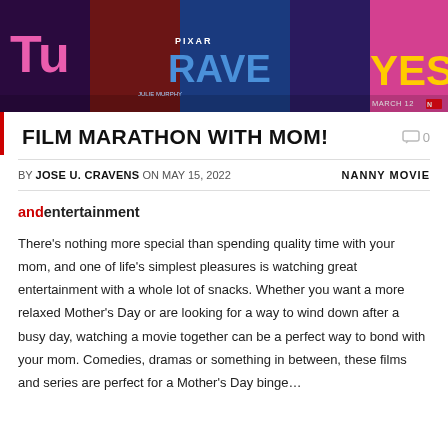[Figure (photo): Collage banner of movie posters including Turning Red, Brave (Disney Pixar), and Yes Day on Netflix]
FILM MARATHON WITH MOM!
0
BY JOSE U. CRAVENS ON MAY 15, 2022  NANNY MOVIE
andentertainment
There's nothing more special than spending quality time with your mom, and one of life's simplest pleasures is watching great entertainment with a whole lot of snacks. Whether you want a more relaxed Mother's Day or are looking for a way to wind down after a busy day, watching a movie together can be a perfect way to bond with your mom. Comedies, dramas or something in between, these films and series are perfect for a Mother's Day binge…